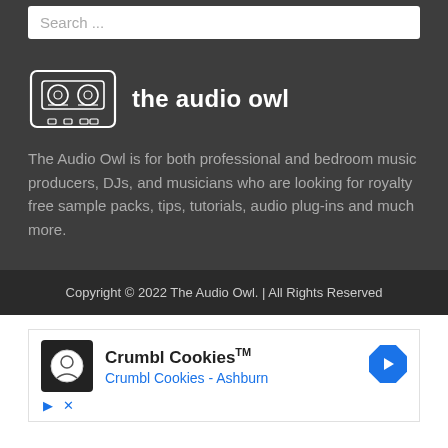Search ...
[Figure (logo): The Audio Owl logo with cassette tape illustration and text 'the audio owl']
The Audio Owl is for both professional and bedroom music producers, DJs, and musicians who are looking for royalty free sample packs, tips, tutorials, audio plug-ins and much more.
Copyright © 2022 The Audio Owl. | All Rights Reserved
[Figure (screenshot): Advertisement for Crumbl Cookies - Ashburn with logo, navigation arrow icon, play and close controls]